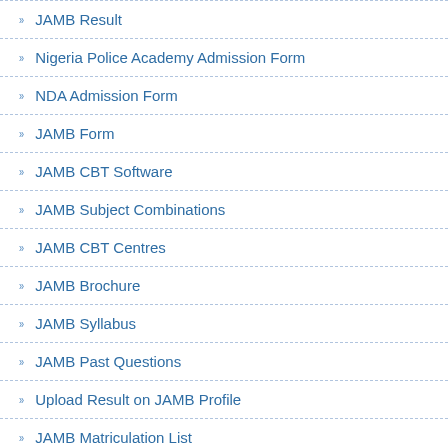JAMB Result
Nigeria Police Academy Admission Form
NDA Admission Form
JAMB Form
JAMB CBT Software
JAMB Subject Combinations
JAMB CBT Centres
JAMB Brochure
JAMB Syllabus
JAMB Past Questions
Upload Result on JAMB Profile
JAMB Matriculation List
JAMB Admission Status
JAMB CAPS